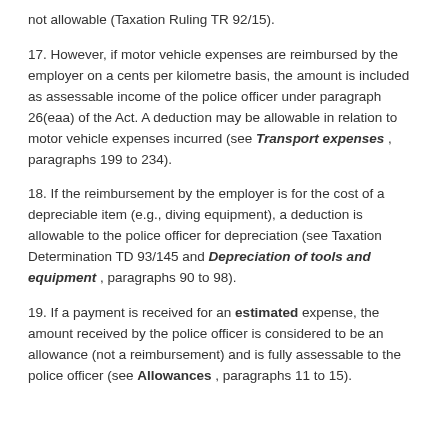not allowable (Taxation Ruling TR 92/15).
17. However, if motor vehicle expenses are reimbursed by the employer on a cents per kilometre basis, the amount is included as assessable income of the police officer under paragraph 26(eaa) of the Act. A deduction may be allowable in relation to motor vehicle expenses incurred (see Transport expenses , paragraphs 199 to 234).
18. If the reimbursement by the employer is for the cost of a depreciable item (e.g., diving equipment), a deduction is allowable to the police officer for depreciation (see Taxation Determination TD 93/145 and Depreciation of tools and equipment , paragraphs 90 to 98).
19. If a payment is received for an estimated expense, the amount received by the police officer is considered to be an allowance (not a reimbursement) and is fully assessable to the police officer (see Allowances , paragraphs 11 to 15).